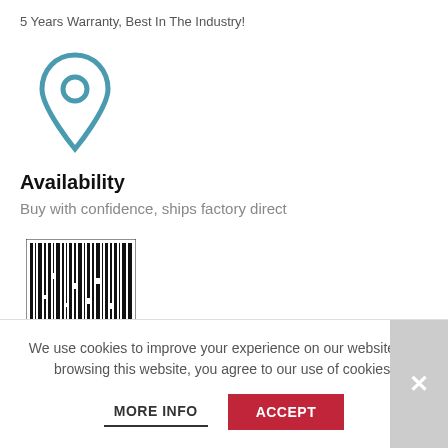5 Years Warranty, Best In The Industry!
[Figure (illustration): Teal/blue location pin icon (map marker with circle inside)]
Availability
Buy with confidence, ships factory direct
[Figure (illustration): Black and white barcode / 2D matrix barcode image]
Top Quality Tops
We use cookies to improve your experience on our website. By browsing this website, you agree to our use of cookies.
MORE INFO
ACCEPT